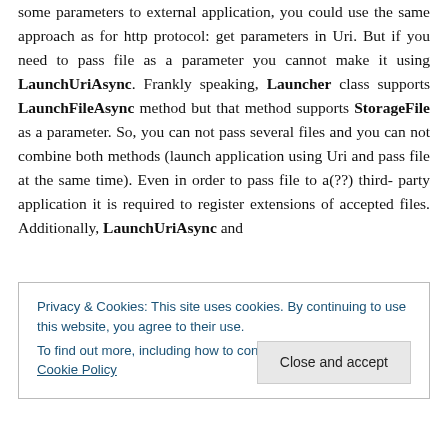some parameters to external application, you could use the same approach as for http protocol: get parameters in Uri. But if you need to pass file as a parameter you cannot make it using LaunchUriAsync. Frankly speaking, Launcher class supports LaunchFileAsync method but that method supports StorageFile as a parameter. So, you can not pass several files and you can not combine both methods (launch application using Uri and pass file at the same time). Even in order to pass file to a(??) third-party application it is required to register extensions of accepted files. Additionally, LaunchUriAsync and
Privacy & Cookies: This site uses cookies. By continuing to use this website, you agree to their use.
To find out more, including how to control cookies, see here: Cookie Policy